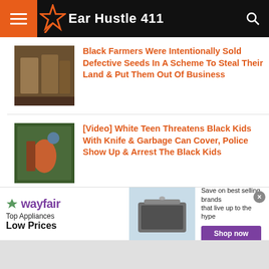Ear Hustle 411
Black Farmers Were Intentionally Sold Defective Seeds In A Scheme To Steal Their Land & Put Them Out Of Business
[Video] White Teen Threatens Black Kids With Knife & Garbage Can Cover, Police Show Up & Arrest The Black Kids
Florida: Arab Store Owners Commits The Largest Food Stamp Fraud In
[Figure (screenshot): Wayfair advertisement banner: Top Appliances Low Prices, Save on best selling brands that live up to the hype, Shop now button]